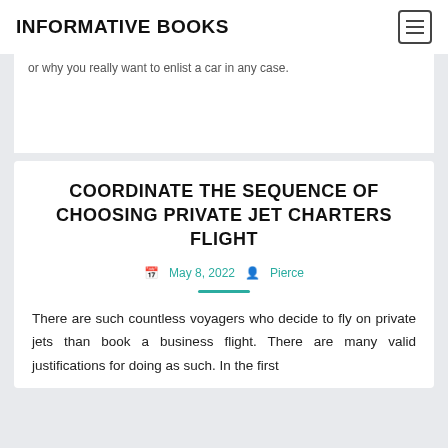INFORMATIVE BOOKS
or why you really want to enlist a car in any case.
COORDINATE THE SEQUENCE OF CHOOSING PRIVATE JET CHARTERS FLIGHT
May 8, 2022  Pierce
There are such countless voyagers who decide to fly on private jets than book a business flight. There are many valid justifications for doing as such. In the first